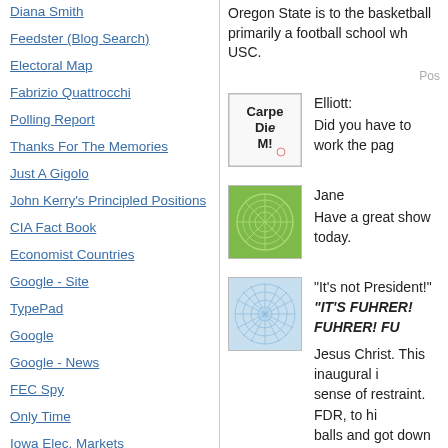Diana Smith
Feedster (Blog Search)
Electoral Map
Fabrizio Quattrocchi
Polling Report
Thanks For The Memories
Just A Gigolo
John Kerry's Principled Positions
CIA Fact Book
Economist Countries
Google - Site
TypePad
Google
Google - News
FEC Spy
Only Time
Iowa Elec. Markets
White House Press
Oregon State is to the basketball... primarily a football school wh... USC.
Post
[Figure (illustration): Avatar image with handwritten text 'Carpe Diem!']
Elliott:
Did you have to work the pag...
[Figure (illustration): Green decorative avatar with geometric pattern]
Jane
Have a great show today.
[Figure (illustration): Blue abstract avatar with network/web pattern]
"It's not President!"
"IT'S FUHRER! FUHRER! FU..."
Jesus Christ. This inaugural i... sense of restraint. FDR, to hi... balls and got down to work in... No amount of excess is too...